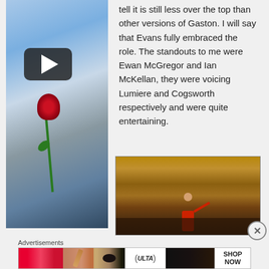[Figure (photo): Beauty and the Beast movie poster: woman in golden dress holding a red rose, blue dreamy background, with a YouTube play button overlay]
tell it is still less over the top than other versions of Gaston. I will say that Evans fully embraced the role. The standouts to me were Ewan McGregor and Ian McKellan, they were voicing Lumiere and Cogsworth respectively and were quite entertaining.
[Figure (photo): Scene from Beauty and the Beast: Gaston character in red coat on stage with a crowd below in a grand ballroom setting]
Advertisements
[Figure (photo): Ulta Beauty advertisement banner showing makeup and beauty products]